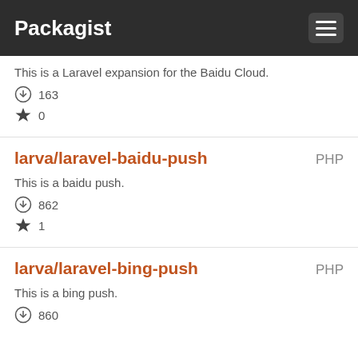Packagist
This is a Laravel expansion for the Baidu Cloud.
163
0
larva/laravel-baidu-push
This is a baidu push.
862
1
larva/laravel-bing-push
This is a bing push.
860